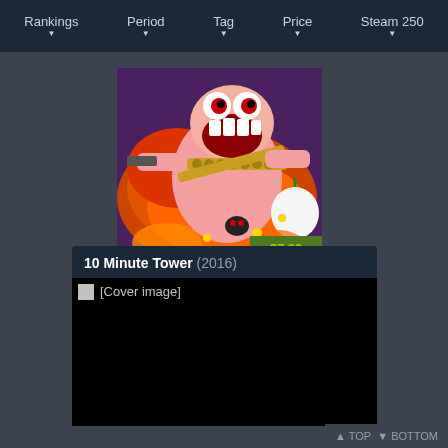Rankings ▼   Period ▼   Tag ▼   Price ▼   Steam 250 ▼
[Figure (screenshot): Game cover art showing a cartoon character with a large mouth, holding weapons, surrounded by explosions and a pumpkin. Price badge showing $7.99 in the bottom right corner.]
10 Minute Tower (2016)
[Figure (screenshot): Broken/missing cover image for 10 Minute Tower (2016) showing [Cover image] placeholder text on black background.]
▲ TOP   ▼ BOTTOM